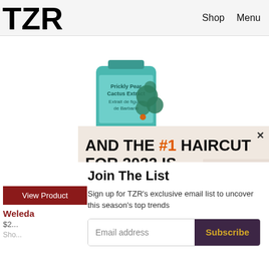TZR   Shop   Menu
[Figure (photo): Product bottle with green label reading 'Prickly Pear Cactus Extract / Extrait de figuier de Barbarie' with green cactus imagery on teal/mint container]
[Figure (infographic): Advertisement banner on beige background reading 'AND THE #1 HAIRCUT FOR 2022 IS...' with a woman's face visible at the right, and a close (x) button]
Join The List
Sign up for TZR's exclusive email list to uncover this season's top trends
Email address   Subscribe
View Product
Weleda
$2...
Sho...